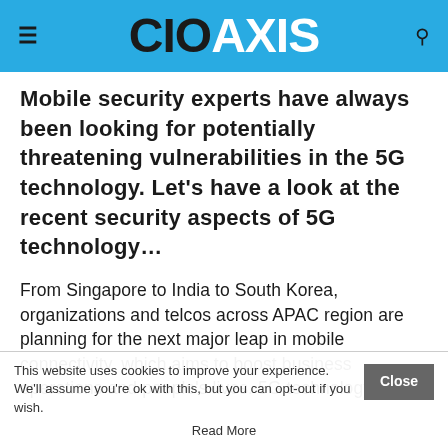CIO AXIS
Mobile security experts have always been looking for potentially threatening vulnerabilities in the 5G technology. Let’s have a look at the recent security aspects of 5G technology…
From Singapore to India to South Korea, organizations and telcos across APAC region are planning for the next major leap in mobile connectivity, which aims to boost business operations and people’s lives. 5G technology also
This website uses cookies to improve your experience. We'll assume you're ok with this, but you can opt-out if you wish. Close
Read More